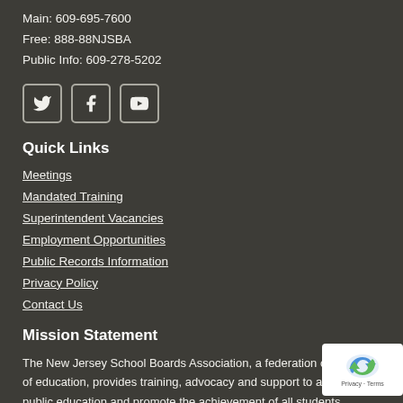Main: 609-695-7600
Free: 888-88NJSBA
Public Info: 609-278-5202
[Figure (other): Social media icons: Twitter, Facebook, YouTube]
Quick Links
Meetings
Mandated Training
Superintendent Vacancies
Employment Opportunities
Public Records Information
Privacy Policy
Contact Us
Mission Statement
The New Jersey School Boards Association, a federation of boards of education, provides training, advocacy and support to advance public education and promote the achievement of all students through effective governance.